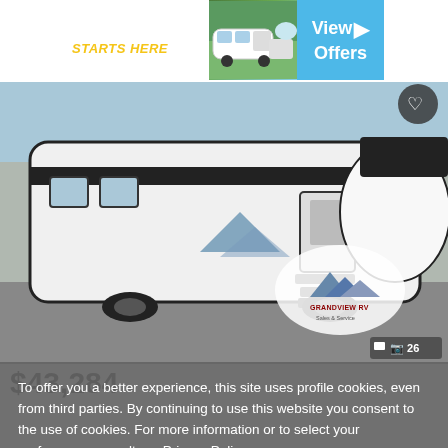[Figure (screenshot): Advertisement banner for RV dealership: dark blue background with 'SUMMER ADVENTURE STARTS HERE' text, RV image, and cyan 'View Offers' button]
[Figure (photo): Photo of a white travel trailer/RV with black accents and blue graphics, Grandview RV dealership logo visible, heart/favorite button in top right, photo counter showing 26 photos]
$43,284
To offer you a better experience, this site uses profile cookies, even from third parties. By continuing to use this website you consent to the use of cookies. For more information or to select your preferences consult our Privacy Policy